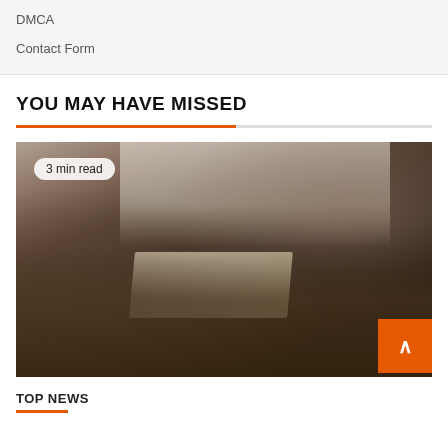DMCA
Contact Form
YOU MAY HAVE MISSED
[Figure (photo): Person working on a laptop at a wooden desk with plants and a coffee cup, café/office setting. Badge reads '3 min read'.]
TOP NEWS